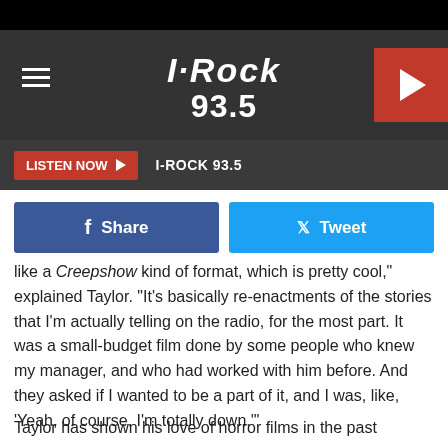[Figure (screenshot): I-Rock 93.5 radio station website header banner with logo text and hamburger menu]
LISTEN NOW ▶  I-ROCK 93.5
[Figure (infographic): Facebook Share button and Twitter Tweet button]
like a Creepshow kind of format, which is pretty cool," explained Taylor. "It's basically re-enactments of the stories that I'm actually telling on the radio, for the most part. It was a small-budget film done by some people who knew my manager, and who had worked with him before. And they asked if I wanted to be a part of it, and I was, like, 'Yeah, of course. I'm totally down.'"
Taylor has shown his love of horror films in the past